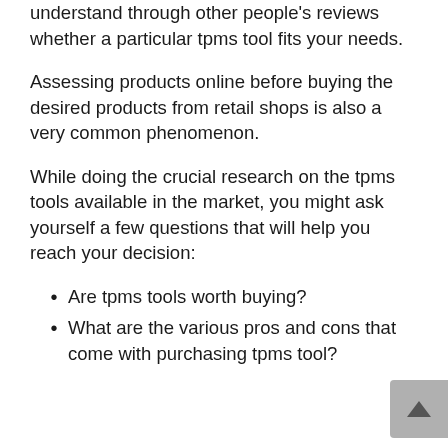understand through other people's reviews whether a particular tpms tool fits your needs.
Assessing products online before buying the desired products from retail shops is also a very common phenomenon.
While doing the crucial research on the tpms tools available in the market, you might ask yourself a few questions that will help you reach your decision:
Are tpms tools worth buying?
What are the various pros and cons that come with purchasing tpms tool?